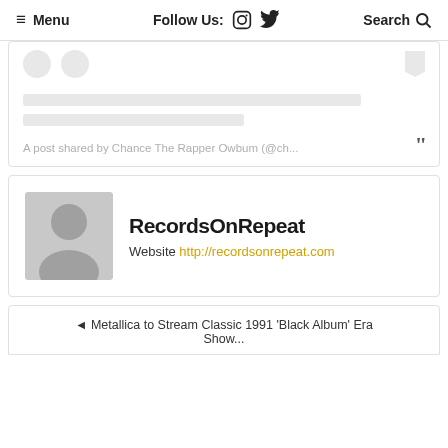≡ Menu  Follow Us: [instagram] [twitter]  Search 🔍
A post shared by Chance The Rapper Owbum (@ch...
[Figure (screenshot): Partial embedded social media post card with like/bookmark icons, two grey placeholder text bars, post caption text, and closing quotation marks]
[Figure (other): Author card showing grey avatar placeholder with person silhouette, bold name RecordsOnRepeat, and website URL http://recordsonrepeat.com]
RecordsOnRepeat
Website http://recordsonrepeat.com
◄ Metallica to Stream Classic 1991 'Black Album' Era Show...